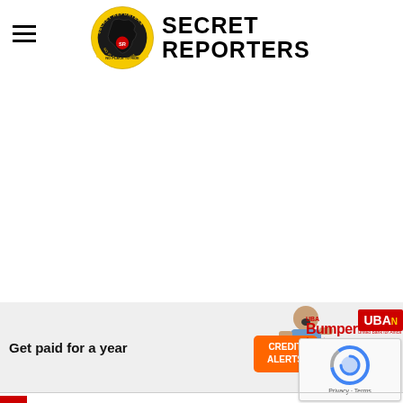[Figure (logo): Secret Reporters website header with hamburger menu, circular logo badge with Nigeria map silhouette and tagline 'No Place to Hide', and bold text 'SECRET REPORTERS']
[Figure (infographic): UBA Bumper Account advertisement banner: 'Get paid for a year', 'Dial *919*20# to', with excited man holding credit card, Bumper branding in red, and UBA logo]
[Figure (other): reCAPTCHA widget with spinning blue/grey logo and 'Privacy - Terms' text at bottom]